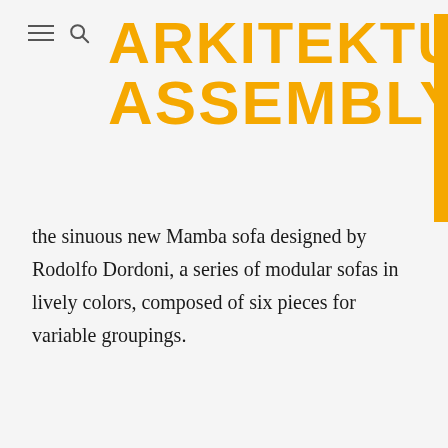ARKITEKTURA ASSEMBLY
the sinuous new Mamba sofa designed by Rodolfo Dordoni, a series of modular sofas in lively colors, composed of six pieces for variable groupings.